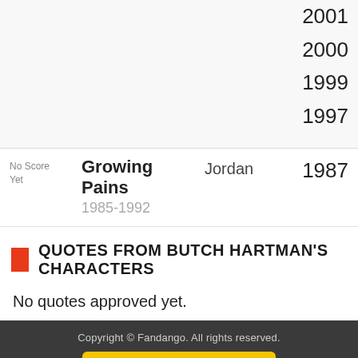2001
2000
1999
1997
| Score | Title | Character | Year |
| --- | --- | --- | --- |
| No Score Yet | Growing Pains 1985-1992 | Jordan | 1987 |
QUOTES FROM BUTCH HARTMAN'S CHARACTERS
No quotes approved yet.
Copyright © Fandango. All rights reserved.
Join Newsletter
Terms and Policies   Privacy PolicyDo Not Sell My Info   Feedback
HOME   BOX OFFICE   TV   DVD   MORE